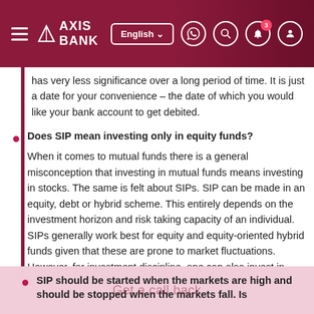AXIS BANK
has very less significance over a long period of time. It is just a date for your convenience – the date of which you would like your bank account to get debited.
Does SIP mean investing only in equity funds? When it comes to mutual funds there is a general misconception that investing in mutual funds means investing in stocks. The same is felt about SIPs. SIP can be made in an equity, debt or hybrid scheme. This entirely depends on the investment horizon and risk taking capacity of an individual. SIPs generally work best for equity and equity-oriented hybrid funds given that these are prone to market fluctuations. However, for investment discipline, one can also invest in debt funds also.
SIP should be started when the markets are high and should be stopped when the markets fall. Is